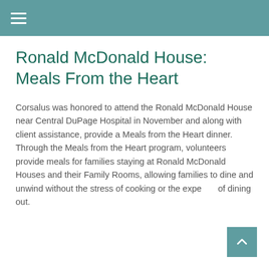≡ (hamburger menu)
Ronald McDonald House: Meals From the Heart
Corsalus was honored to attend the Ronald McDonald House near Central DuPage Hospital in November and along with client assistance, provide a Meals from the Heart dinner. Through the Meals from the Heart program, volunteers provide meals for families staying at Ronald McDonald Houses and their Family Rooms, allowing families to dine and unwind without the stress of cooking or the expense of dining out.